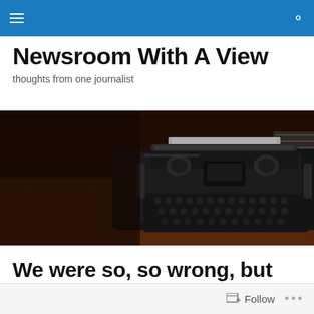Navigation bar with menu and search icons
Newsroom With A View
thoughts from one journalist
[Figure (photo): A vintage black typewriter sitting on a wooden desk surface, photographed from the side in a dimly lit room with warm brown tones.]
We were so, so wrong, but I’m not sorry
Follow   ...